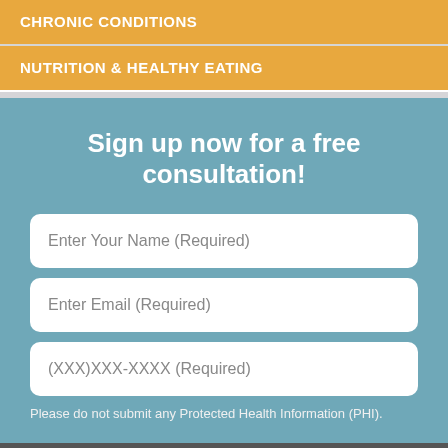CHRONIC CONDITIONS
NUTRITION & HEALTHY EATING
Sign up now for a free consultation!
Enter Your Name (Required)
Enter Email (Required)
(XXX)XXX-XXXX (Required)
Please do not submit any Protected Health Information (PHI).
[Figure (screenshot): Accessibility View button overlay at bottom of page]